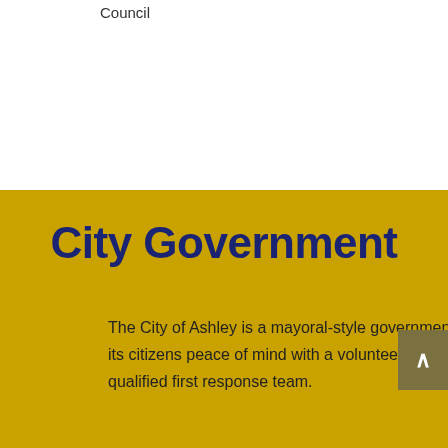Council
City Government
The City of Ashley is a mayoral-style government with an elected mayor and six elected council people. Ashley offers its citizens peace of mind with a volunteer fire department, qualified Emergency Medical Technician staff, and a qualified first response team.